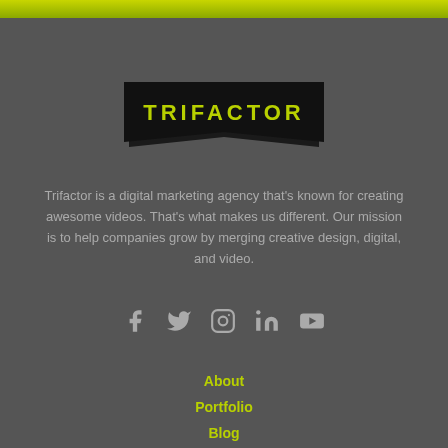[Figure (logo): Trifactor logo - black banner ribbon with 'TRIFACTOR' text in lime/yellow-green color]
Trifactor is a digital marketing agency that's known for creating awesome videos. That's what makes us different. Our mission is to help companies grow by merging creative design, digital, and video.
[Figure (infographic): Row of 5 social media icons: Facebook, Twitter, Instagram, LinkedIn, YouTube in gray color]
About
Portfolio
Blog
Jobs
Contact